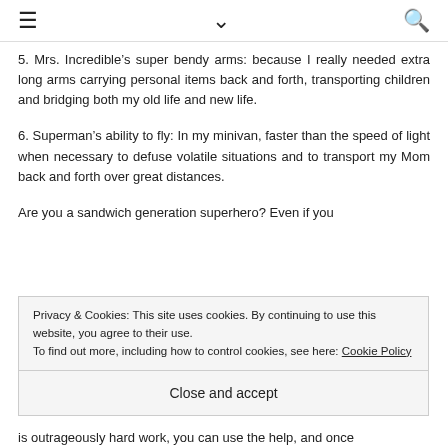≡  ∨  🔍
5. Mrs. Incredible's super bendy arms: because I really needed extra long arms carrying personal items back and forth, transporting children and bridging both my old life and new life.
6. Superman's ability to fly: In my minivan, faster than the speed of light when necessary to defuse volatile situations and to transport my Mom back and forth over great distances.
Are you a sandwich generation superhero? Even if you
Privacy & Cookies: This site uses cookies. By continuing to use this website, you agree to their use.
To find out more, including how to control cookies, see here: Cookie Policy
Close and accept
is outrageously hard work, you can use the help, and once